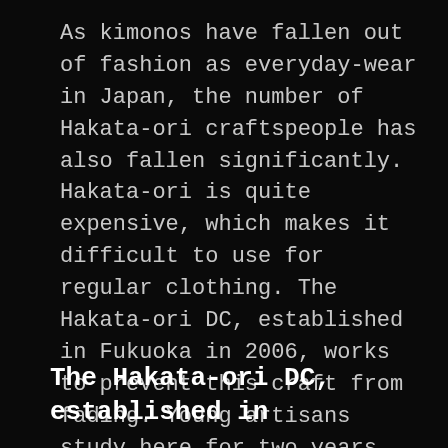As kimonos have fallen out of fashion as everyday-wear in Japan, the number of Hakata-ori craftspeople has also fallen significantly. Hakata-ori is quite expensive, which makes it difficult to use for regular clothing. The Hakata-ori DC, established in Fukuoka in 2006, works to prevent this craft from fading. Young artisans study here for two years under the guidance of experienced Hakata-ori weavers. The students inject a fresh modernism into their work at the college.
The Hakata-ori DC, established in